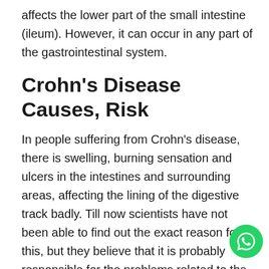affects the lower part of the small intestine (ileum). However, it can occur in any part of the gastrointestinal system.
Crohn's Disease Causes, Risk
In people suffering from Crohn's disease, there is swelling, burning sensation and ulcers in the intestines and surrounding areas, affecting the lining of the digestive track badly. Till now scientists have not been able to find out the exact reason for this, but they believe that it is probably responsible for the problems related to the immune system, genetic and haphazard lifestyle. Lifestyle includes eating habits, microbes such as bacteria or viruses, smoking, etc. Many researches have also said that there is a higher risk of Crohn's disease among those who do not smoke.